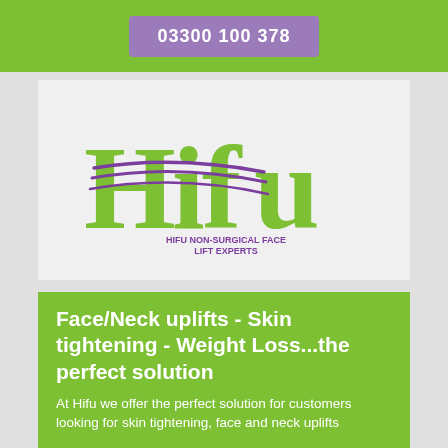03300 100 378
[Figure (logo): Hifu logo — large green serif 'Hifu' text with purple swoosh lines through the H, and small text reading 'HIFU NON-SURGICAL FACE LIFT EXPERTS']
Face/Neck uplifts - Skin tightening - Weight Loss...the perfect solution
At Hifu we offer the perfect solution for customers looking for skin tightening, face and neck uplifts